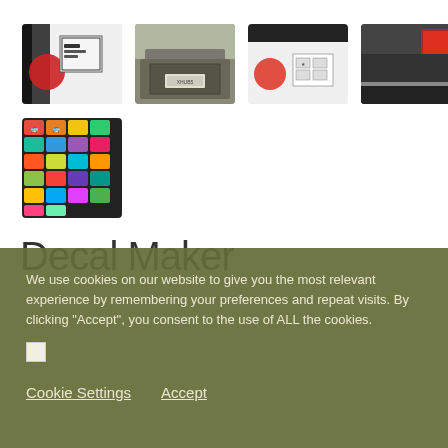[Figure (photo): First row of thumbnail product photos showing decal stickers applied to vehicle bumpers - 4 thumbnails showing white/black truck details]
[Figure (photo): Second row with one thumbnail showing colorful multi-color decal sticker grid/sheet]
Decal Maker
We use cookies on our website to give you the most relevant experience by remembering your preferences and repeat visits. By clicking “Accept”, you consent to the use of ALL the cookies.
Cookie Settings   Accept